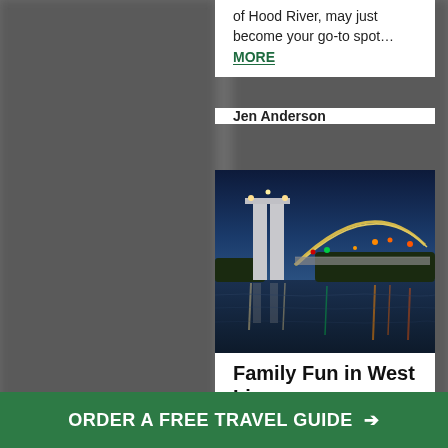of Hood River, may just become your go-to spot… MORE
Jen Anderson
[Figure (photo): Night photo of an illuminated arch bridge reflected in calm river water, with trees and city lights in background]
Family Fun in West Linn
ORDER A FREE TRAVEL GUIDE →